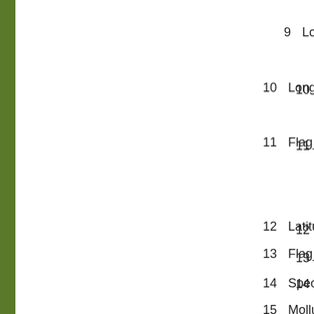9   Location_
10   Longitud
11   Flag_Lon
12   Latitude
13   Flag_Lat
14   Species
15   Mollusc_